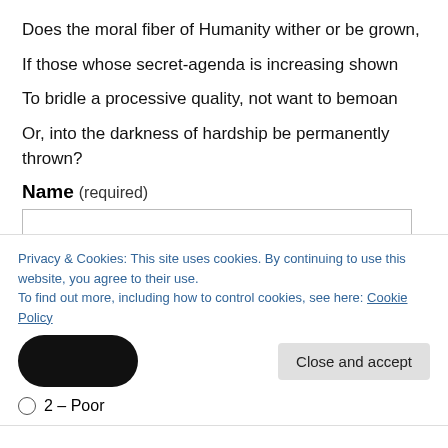Does the moral fiber of Humanity wither or be grown,
If those whose secret-agenda is increasing shown
To bridle a processive quality, not want to bemoan
Or, into the darkness of hardship be permanently thrown?
Name (required)
[Name input field]
Email (required)
[Email input field]
Privacy & Cookies: This site uses cookies. By continuing to use this website, you agree to their use.
To find out more, including how to control cookies, see here: Cookie Policy
Close and accept
2 – Poor